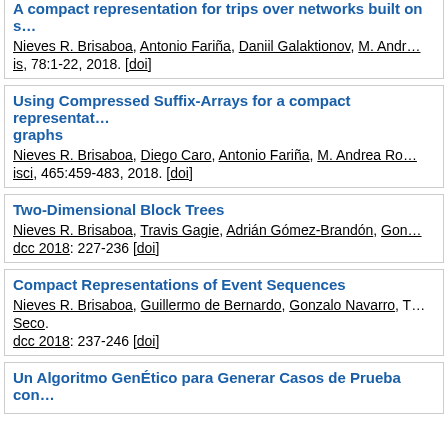A compact representation for trips over networks built on s... Nieves R. Brisaboa, Antonio Fariña, Daniil Galaktionov, M. Andr... is, 78:1-22, 2018. [doi]
Using Compressed Suffix-Arrays for a compact representat... graphs
Nieves R. Brisaboa, Diego Caro, Antonio Fariña, M. Andrea Ro... isci, 465:459-483, 2018. [doi]
Two-Dimensional Block Trees
Nieves R. Brisaboa, Travis Gagie, Adrián Gómez-Brandón, Gon... dcc 2018: 227-236 [doi]
Compact Representations of Event Sequences
Nieves R. Brisaboa, Guillermo de Bernardo, Gonzalo Navarro, T... Seco. dcc 2018: 237-246 [doi]
Un Algoritmo GenÉtico para Generar Casos de Prueba con...